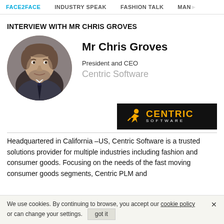FACE2FACE   INDUSTRY SPEAK   FASHION TALK   MAN...
INTERVIEW WITH MR CHRIS GROVES
[Figure (photo): Circular profile photo of Mr Chris Groves, a middle-aged man in a suit with a beard]
Mr Chris Groves
President and CEO
Centric Software
[Figure (logo): Centric Software logo — black background with orange figure icon and orange CENTRIC text with white SOFTWARE beneath]
Headquartered in California –US, Centric Software is a trusted solutions provider for multiple industries including fashion and consumer goods. Focusing on the needs of the fast moving consumer goods segments, Centric PLM and
We use cookies. By continuing to browse, you accept our cookie policy or can change your settings.   got it